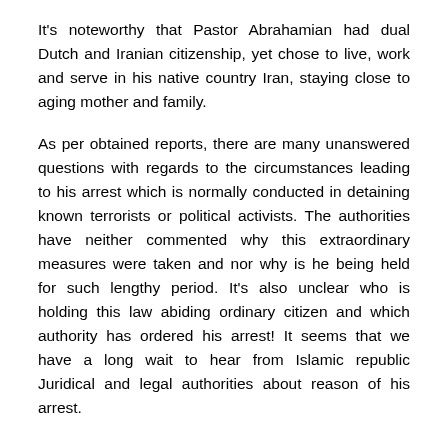It's noteworthy that Pastor Abrahamian had dual Dutch and Iranian citizenship, yet chose to live, work and serve in his native country Iran, staying close to aging mother and family.
As per obtained reports, there are many unanswered questions with regards to the circumstances leading to his arrest which is normally conducted in detaining known terrorists or political activists. The authorities have neither commented why this extraordinary measures were taken and nor why is he being held for such lengthy period. It's also unclear who is holding this law abiding ordinary citizen and which authority has ordered his arrest! It seems that we have a long wait to hear from Islamic republic Juridical and legal authorities about reason of his arrest.